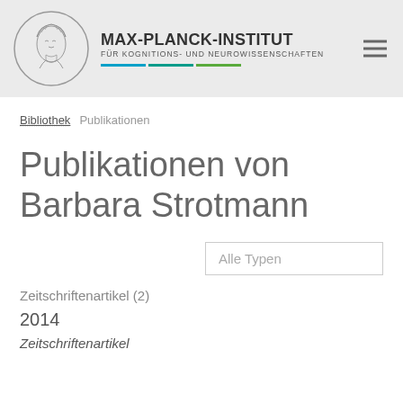[Figure (logo): Max-Planck-Institut für Kognitions- und Neurowissenschaften header with logo, institute name, and colored lines]
MAX-PLANCK-INSTITUT FÜR KOGNITIONS- UND NEUROWISSENSCHAFTEN
Bibliothek   Publikationen
Publikationen von Barbara Strotmann
Alle Typen
Zeitschriftenartikel (2)
2014
Zeitschriftenartikel